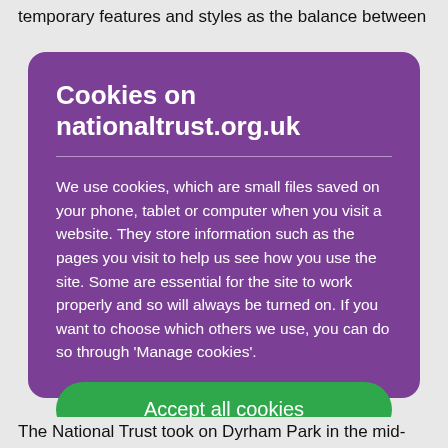temporary features and styles as the balance between
Cookies on nationaltrust.org.uk
We use cookies, which are small files saved on your phone, tablet or computer when you visit a website. They store information such as the pages you visit to help us see how you use the site. Some are essential for the site to work properly and so will always be turned on. If you want to choose which others we use, you can do so through 'Manage cookies'.
Accept all cookies
The National Trust took on Dyrham Park in the mid-